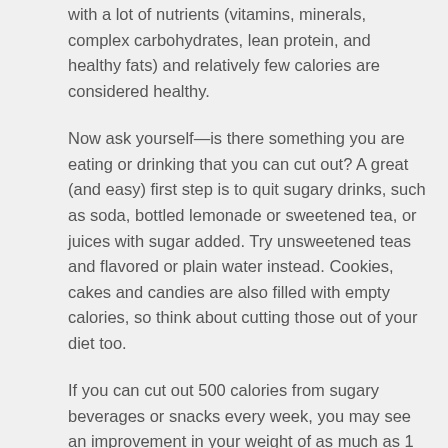with a lot of nutrients (vitamins, minerals, complex carbohydrates, lean protein, and healthy fats) and relatively few calories are considered healthy.
Now ask yourself—is there something you are eating or drinking that you can cut out? A great (and easy) first step is to quit sugary drinks, such as soda, bottled lemonade or sweetened tea, or juices with sugar added. Try unsweetened teas and flavored or plain water instead. Cookies, cakes and candies are also filled with empty calories, so think about cutting those out of your diet too.
If you can cut out 500 calories from sugary beverages or snacks every week, you may see an improvement in your weight of as much as 1 to 2 pounds a week. You might miss the sweet